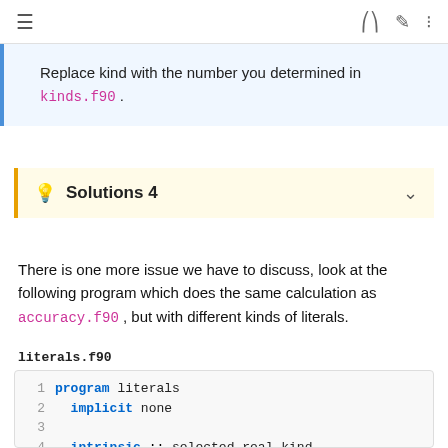≡  [icons: fullscreen, pencil, list]
Replace kind with the number you determined in kinds.f90.
💡 Solutions 4
There is one more issue we have to discuss, look at the following program which does the same calculation as accuracy.f90, but with different kinds of literals.
literals.f90
1 program literals
2   implicit none
3
4   intrinsic :: selected_real_kind
5   ! kind parameter for real variables